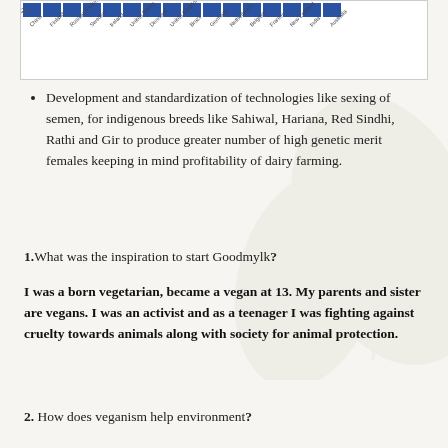[Figure (bar-chart): Partial bar chart visible at top of page showing country data with blue bars]
Development and standardization of technologies like sexing of semen, for indigenous breeds like Sahiwal, Hariana, Red Sindhi, Rathi and Gir to produce greater number of high genetic merit females keeping in mind profitability of dairy farming.
1. What was the inspiration to start Goodmylk?
I was a born vegetarian, became a vegan at 13. My parents and sister are vegans. I was an activist and as a teenager I was fighting against cruelty towards animals along with society for animal protection.
2. How does veganism help environment?